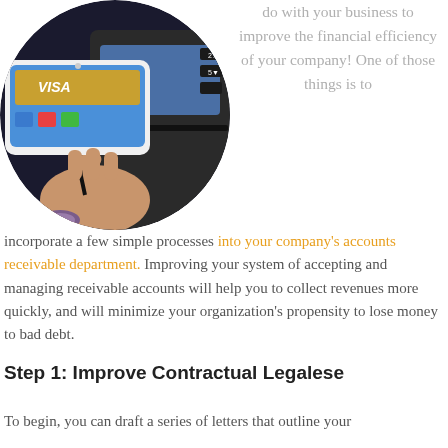[Figure (photo): A hand holding a white smartphone near a payment terminal/card reader, with a VISA card visible on the terminal screen. The image is cropped in a circle.]
do with your business to improve the financial efficiency of your company! One of those things is to
incorporate a few simple processes into your company's accounts receivable department. Improving your system of accepting and managing receivable accounts will help you to collect revenues more quickly, and will minimize your organization's propensity to lose money to bad debt.
Step 1: Improve Contractual Legalese
To begin, you can draft a series of letters that outline your